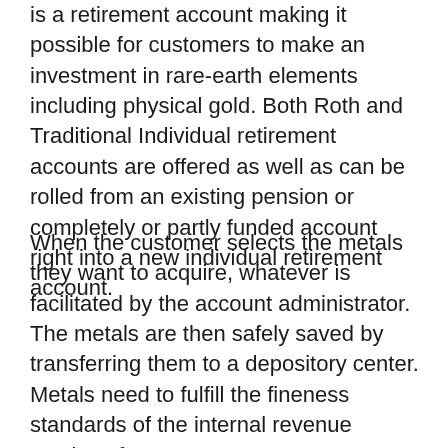is a retirement account making it possible for customers to make an investment in rare-earth elements including physical gold. Both Roth and Traditional Individual retirement accounts are offered as well as can be rolled from an existing pension or completely or partly funded account right into a new individual retirement account.
When the customer selects the metals they want to acquire, whatever is facilitated by the account administrator. The metals are then safely saved by transferring them to a depository center. Metals need to fulfill the fineness standards of the internal revenue service of 99.9 percent pureness to get enhancement to a precious metals IRA.